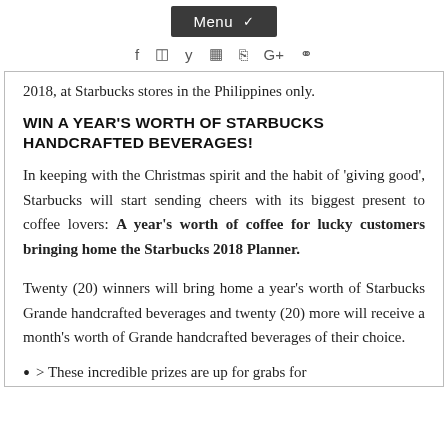Menu
2018, at Starbucks stores in the Philippines only.
WIN A YEAR'S WORTH OF STARBUCKS HANDCRAFTED BEVERAGES!
In keeping with the Christmas spirit and the habit of 'giving good', Starbucks will start sending cheers with its biggest present to coffee lovers: A year's worth of coffee for lucky customers bringing home the Starbucks 2018 Planner.
Twenty (20) winners will bring home a year's worth of Starbucks Grande handcrafted beverages and twenty (20) more will receive a month's worth of Grande handcrafted beverages of their choice.
> These incredible prizes are up for grabs for